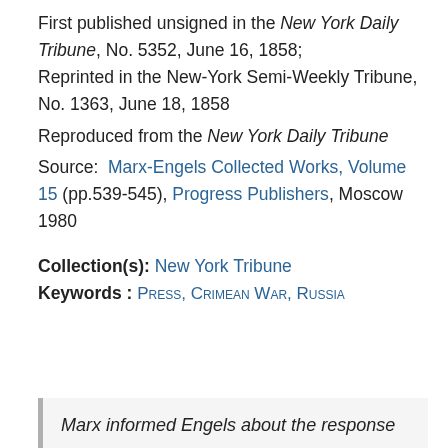First published unsigned in the New York Daily Tribune, No. 5352, June 16, 1858; Reprinted in the New-York Semi-Weekly Tribune, No. 1363, June 18, 1858 Reproduced from the New York Daily Tribune Source: Marx-Engels Collected Works, Volume 15 (pp.539-545), Progress Publishers, Moscow 1980
Collection(s): New York Tribune
Keywords : Press, Crimean War, Russia
Marx informed Engels about the response